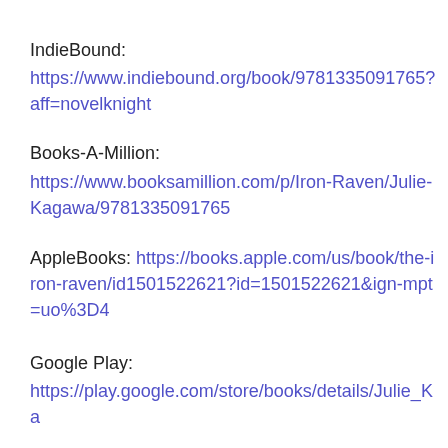IndieBound:
https://www.indiebound.org/book/9781335091765?aff=novelknight
Books-A-Million:
https://www.booksamillion.com/p/Iron-Raven/Julie-Kagawa/9781335091765
AppleBooks: https://books.apple.com/us/book/the-iron-raven/id1501522621?id=1501522621&ign-mpt=uo%3D4
Google Play:
https://play.google.com/store/books/details/Julie_Ka